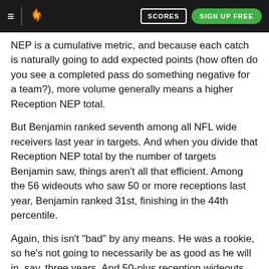≡ [logo] SCORES SIGN UP FREE
NEP is a cumulative metric, and because each catch is naturally going to add expected points (how often do you see a completed pass do something negative for a team?), more volume generally means a higher Reception NEP total.
But Benjamin ranked seventh among all NFL wide receivers last year in targets. And when you divide that Reception NEP total by the number of targets Benjamin saw, things aren't all that efficient. Among the 56 wideouts who saw 50 or more receptions last year, Benjamin ranked 31st, finishing in the 44th percentile.
Again, this isn't "bad" by any means. He was a rookie, so he's not going to necessarily be as good as he will in, say, three years. And 50-plus reception wideouts are generally going to be good receivers -